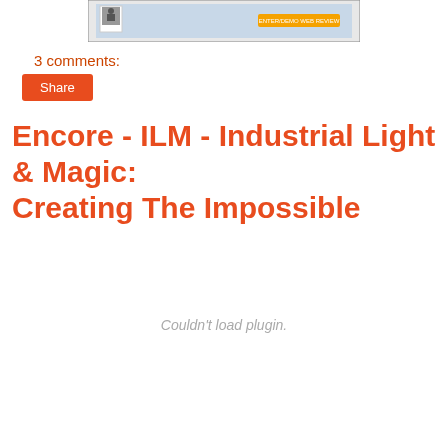[Figure (screenshot): Screenshot of a webpage showing an entertainment/film review page with a small polaroid-style image and an orange button labeled 'ENTER/DEMO WEB REVIEW']
3 comments:
Share
Encore - ILM - Industrial Light & Magic: Creating The Impossible
Couldn't load plugin.